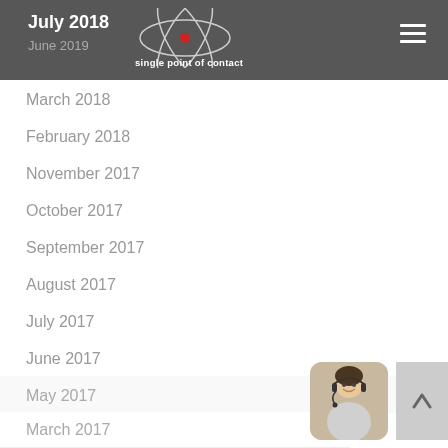July 2018 / June 2019 · single point of contact
March 2018
February 2018
November 2017
October 2017
September 2017
August 2017
July 2017
June 2017
May 2017
April 2017
March 2017
[Figure (photo): Customer service representative wearing headset, smiling]
[Figure (other): Scroll-to-top button with upward arrow]